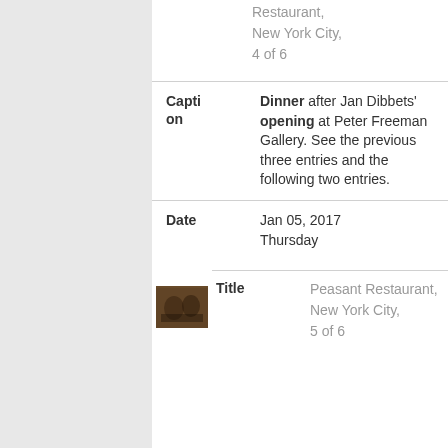Restaurant, New York City, 4 of 6
Caption — Dinner after Jan Dibbets' opening at Peter Freeman Gallery. See the previous three entries and the following two entries.
Date — Jan 05, 2017 Thursday
[Figure (photo): Small thumbnail photo of people dining]
Peasant Restaurant, New York City, 5 of 6